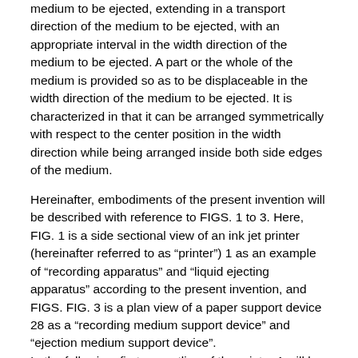medium to be ejected, extending in a transport direction of the medium to be ejected, with an appropriate interval in the width direction of the medium to be ejected. A part or the whole of the medium is provided so as to be displaceable in the width direction of the medium to be ejected. It is characterized in that it can be arranged symmetrically with respect to the center position in the width direction while being arranged inside both side edges of the medium.
Hereinafter, embodiments of the present invention will be described with reference to FIGS. 1 to 3. Here, FIG. 1 is a side sectional view of an ink jet printer (hereinafter referred to as “printer”) 1 as an example of “recording apparatus” and “liquid ejecting apparatus” according to the present invention, and FIGS. FIG. 3 is a plan view of a paper support device 28 as a “recording medium support device” and “ejection medium support device”.
In the following, first, an outline of the printer 1 will be described with reference to FIG. In the following description, the left direction (front side of the printer) in FIG. 1 is referred to as “downstream side” of the paper transport path, and the right direction in FIG. 1 is referred to as “upstream side”.